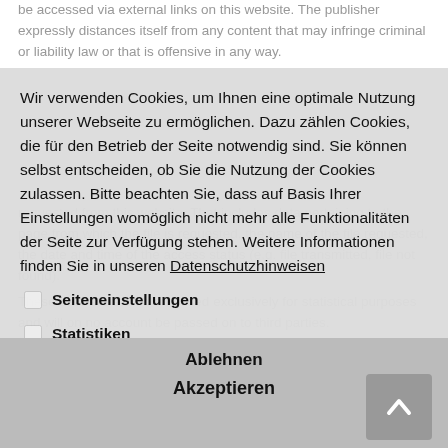be accessed via external links on this website. The publisher expressly distances itself from any content that may infringe criminal or liability law or that is offensive in any way. that information has been requested from this website. That includes data pertaining to the page from which the file is requested, the name of the file requested, the date and time of the access status (e.g. file transmitted, file not found). These data are stored and used exclusively for statistical purposes and will on no account be passed on to third parties. Where users have the option of entering personal but on this website (email addresses, names, postal addresses), they are explicitly advised that they are disclosing such information on a voluntary basis.
Wir verwenden Cookies, um Ihnen eine optimale Nutzung unserer Webseite zu ermöglichen. Dazu zählen Cookies, die für den Betrieb der Seite notwendig sind. Sie können selbst entscheiden, ob Sie die Nutzung der Cookies zulassen. Bitte beachten Sie, dass auf Basis Ihrer Einstellungen womöglich nicht mehr alle Funktionalitäten der Seite zur Verfügung stehen. Weitere Informationen finden Sie in unseren Datenschutzhinweisen
Seiteneinstellungen
Statistiken
Externe Medien
Ablehnen
Akzeptieren